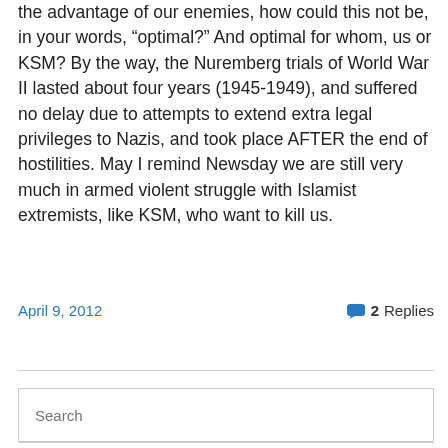the advantage of our enemies, how could this not be, in your words, "optimal?" And optimal for whom, us or KSM? By the way, the Nuremberg trials of World War II lasted about four years (1945-1949), and suffered no delay due to attempts to extend extra legal privileges to Nazis, and took place AFTER the end of hostilities. May I remind Newsday we are still very much in armed violent struggle with Islamist extremists, like KSM, who want to kill us.
April 9, 2012
2 Replies